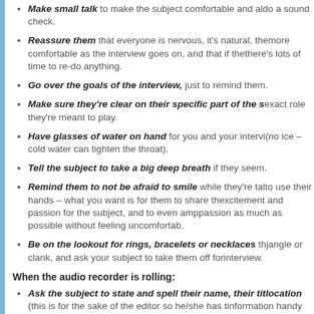Make small talk to make the subject comfortable and also do a sound check.
Reassure them that everyone is nervous, it's natural, they'll be more comfortable as the interview goes on, and that if they make mistakes there's lots of time to re-do anything.
Go over the goals of the interview, just to remind them.
Make sure they're clear on their specific part of the s... exact role they're meant to play.
Have glasses of water on hand for you and your intervi... (no ice – cold water can tighten the throat).
Tell the subject to take a big deep breath if they seem...
Remind them to not be afraid to smile while they're tal... to use their hands – what you want is for them to share th... excitement and passion for the subject, and to even amp... passion as much as possible without feeling uncomfortab...
Be on the lookout for rings, bracelets or necklaces th... jangle or clank, and ask your subject to take them off for ... interview.
When the audio recorder is rolling:
Ask the subject to state and spell their name, their tit... location (this is for the sake of the editor so he/she has t... information handy for doing the titles.)